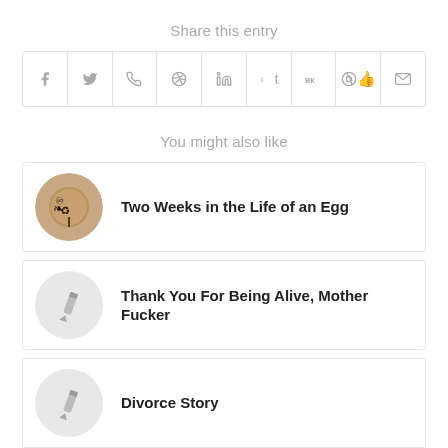Share this entry
[Figure (infographic): Row of 9 social sharing icon buttons: Facebook, Twitter, WhatsApp, Pinterest, LinkedIn, Tumblr, VK, Reddit, Email]
You might also like
Two Weeks in the Life of an Egg
Thank You For Being Alive, Mother Fucker
Divorce Story